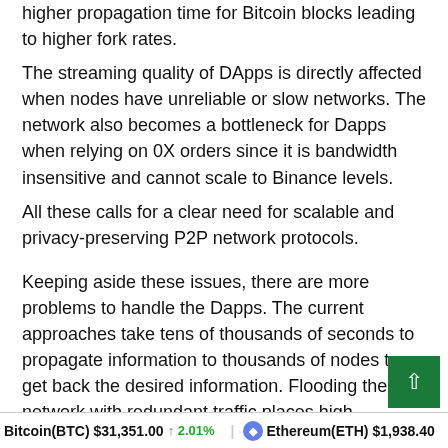higher propagation time for Bitcoin blocks leading to higher fork rates.
The streaming quality of DApps is directly affected when nodes have unreliable or slow networks. The network also becomes a bottleneck for Dapps when relying on 0X orders since it is bandwidth insensitive and cannot scale to Binance levels.
All these calls for a clear need for scalable and privacy-preserving P2P network protocols.
Keeping aside these issues, there are more problems to handle the Dapps. The current approaches take tens of thousands of seconds to propagate information to thousands of nodes to get back the desired information. Flooding the network with redundant traffic places high bandwidth demands on nodes. Privacy leaks as spoken previously still stand as a major problem. An attacker who is monitoring the network traffic can easily infer the IP address of the senders brea
Bitcoin(BTC) $31,351.00 ↑ 2.01%   Ethereum(ETH) $1,938.40